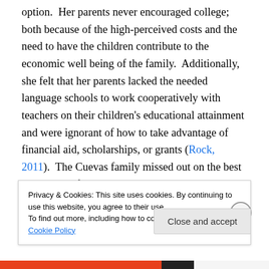option.  Her parents never encouraged college; both because of the high-perceived costs and the need to have the children contribute to the economic well being of the family.  Additionally, she felt that her parents lacked the needed language schools to work cooperatively with teachers on their children's educational attainment and were ignorant of how to take advantage of financial aid, scholarships, or grants (Rock, 2011).  The Cuevas family missed out on the best opportunity for intergenerational class mobility they had because of language, cultural, and
Privacy & Cookies: This site uses cookies. By continuing to use this website, you agree to their use.
To find out more, including how to control cookies, see here: Cookie Policy
Close and accept